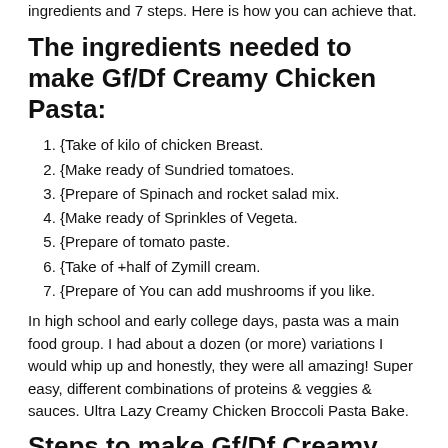ingredients and 7 steps. Here is how you can achieve that.
The ingredients needed to make Gf/Df Creamy Chicken Pasta:
1. {Take of kilo of chicken Breast.
2. {Make ready of Sundried tomatoes.
3. {Prepare of Spinach and rocket salad mix.
4. {Make ready of Sprinkles of Vegeta.
5. {Prepare of tomato paste.
6. {Take of +half of Zymill cream.
7. {Prepare of You can add mushrooms if you like.
In high school and early college days, pasta was a main food group. I had about a dozen (or more) variations I would whip up and honestly, they were all amazing! Super easy, different combinations of proteins & veggies & sauces. Ultra Lazy Creamy Chicken Broccoli Pasta Bake.
Steps to make Gf/Df Creamy Chicken Pasta:
1. Chop the chicken in cubes then put into pan to cook.